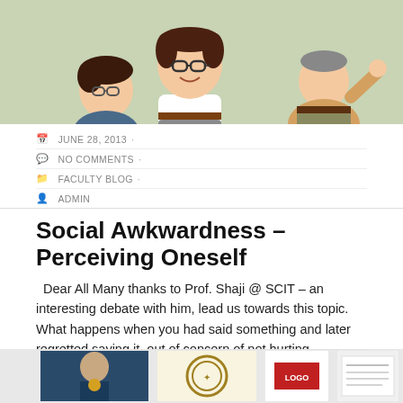[Figure (illustration): Cartoon illustration of socially awkward characters — a person wearing glasses looking downward, a taller smiling character in white shirt with glasses, and a third character in the background, set against a light green background.]
JUNE 28, 2013 ·
NO COMMENTS ·
FACULTY BLOG ·
ADMIN
Social Awkwardness – Perceiving Oneself
Dear All Many thanks to Prof. Shaji @ SCIT – an interesting debate with him, lead us towards this topic. What happens when you had said something and later regretted saying it, out of concern of not hurting somebody? What happens when you sense your own anxiety when you are amongst a group of peers? Do you often feel tongue-tied or you don't know the appropriate response? What happens
[Figure (photo): Row of thumbnail photos at the bottom of the page showing a person with a medal, a certificate with a seal, a red logo/badge, and a document.]